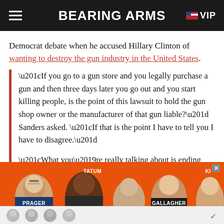BEARING ARMS | VIP
Democrat debate when he accused Hillary Clinton of wanting to destroy the gun industry in the United States.
“If you go to a gun store and you legally purchase a gun and then three days later you go out and you start killing people, is the point of this lawsuit to hold the gun shop owner or the manufacturer of that gun liable?” Sanders asked. “If that is the point I have to tell you I have to disagree.”

“What you’re really talking about is ending gun manufacturing in America. I don’t
[Figure (other): Advertisement banner with orange background showing people: Prager, Tatum, Gallagher, and partial others. Close button in top right.]